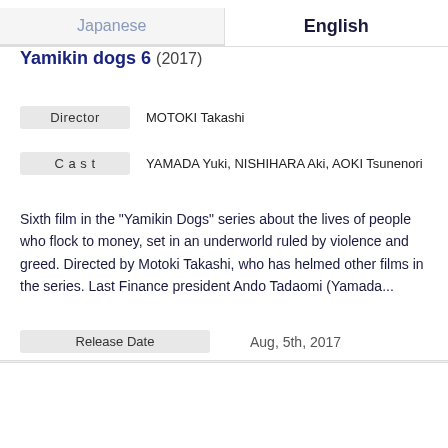[Figure (screenshot): Tab interface showing Japanese and English tabs, with English tab selected]
Yamikin dogs 6 (2017)
| Field | Value |
| --- | --- |
| Director | MOTOKI Takashi |
| Cast | YAMADA Yuki, NISHIHARA Aki, AOKI Tsunenori |
Sixth film in the "Yamikin Dogs" series about the lives of people who flock to money, set in an underworld ruled by violence and greed. Directed by Motoki Takashi, who has helmed other films in the series. Last Finance president Ando Tadaomi (Yamada...
| Field | Value |
| --- | --- |
| Release Date | Aug, 5th, 2017 |